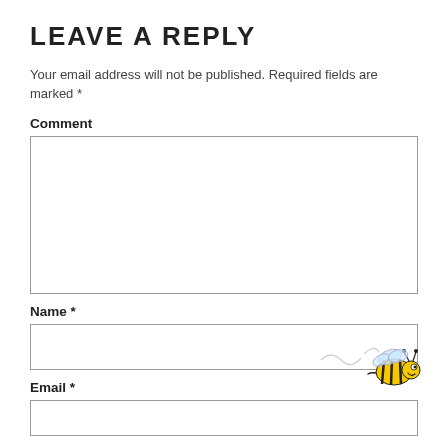LEAVE A REPLY
Your email address will not be published. Required fields are marked *
Comment
Name *
Email *
[Figure (illustration): Cartoon bee illustration with yellow and black stripes, wings, and smiling face, positioned in lower right corner of the page near the Email field label]